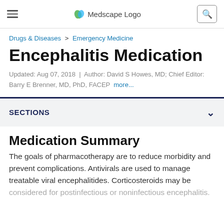Medscape Logo
Drugs & Diseases > Emergency Medicine
Encephalitis Medication
Updated: Aug 07, 2018 | Author: David S Howes, MD; Chief Editor: Barry E Brenner, MD, PhD, FACEP more...
SECTIONS
Medication Summary
The goals of pharmacotherapy are to reduce morbidity and prevent complications. Antivirals are used to manage treatable viral encephalitides. Corticosteroids may be considered for postinfectious or noninfectious encephalitis.